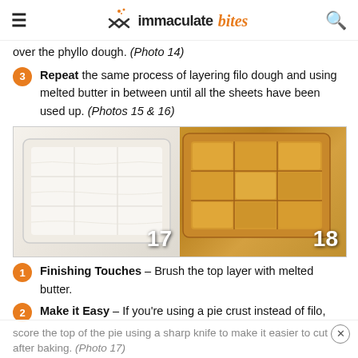immaculate bites
over the phyllo dough. (Photo 14)
3 Repeat the same process of layering filo dough and using melted butter in between until all the sheets have been used up. (Photos 15 & 16)
[Figure (photo): Two side-by-side photos: Photo 17 shows unbaked layered phyllo dough in a white baking dish, cut into rectangles; Photo 18 shows the same dish after baking, with golden-brown crispy phyllo dough.]
1 Finishing Touches – Brush the top layer with melted butter.
2 Make it Easy – If you're using a pie crust instead of filo, score the top of the pie using a sharp knife to make it easier to cut after baking. (Photo 17)